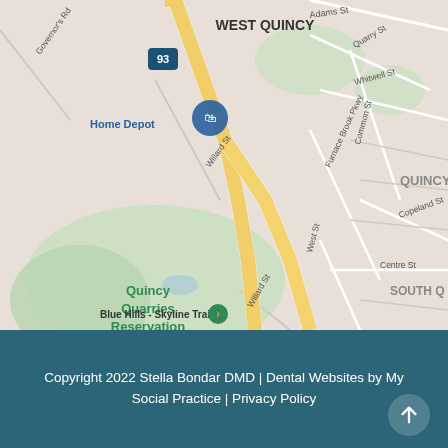[Figure (map): Google Maps view of West Quincy and Quincy, Massachusetts area showing streets including Adams St, Quarry St, Whitwell St, Willard St, Furnace Brook Pkwy, Common St, Copeland St, Centre St, West St, and landmarks including Quincy Quarries Reservation (green area), Home Depot with location pin, Blue Hills Skyline Trail marker, and highway 93 running vertically through the map.]
Copyright 2022 Stella Bondar DMD | Dental Websites by My Social Practice | Privacy Policy